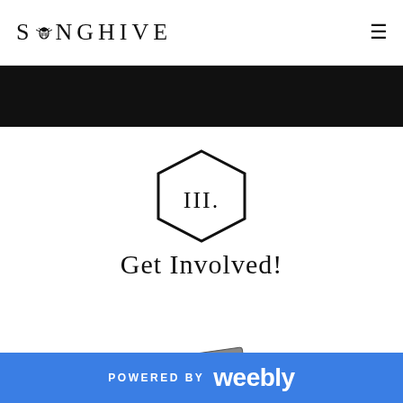SONGHIVE
[Figure (illustration): Black horizontal banner bar]
[Figure (illustration): Hexagon shape containing roman numeral III.]
Get Involved!
[Figure (illustration): Illustration of a worn/old book or notebook]
POWERED BY weebly